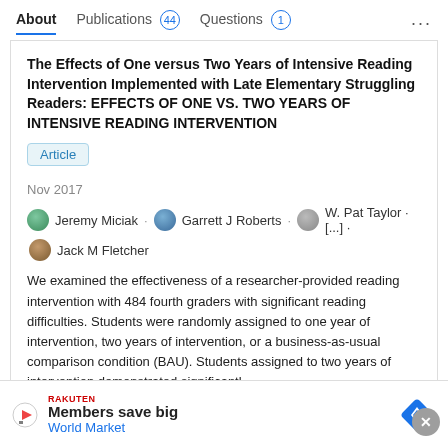About  Publications 44  Questions 1  ...
The Effects of One versus Two Years of Intensive Reading Intervention Implemented with Late Elementary Struggling Readers: EFFECTS OF ONE VS. TWO YEARS OF INTENSIVE READING INTERVENTION
Article
Nov 2017
Jeremy Miciak · Garrett J Roberts · W. Pat Taylor · [...] · Jack M Fletcher
We examined the effectiveness of a researcher-provided reading intervention with 484 fourth graders with significant reading difficulties. Students were randomly assigned to one year of intervention, two years of intervention, or a business-as-usual comparison condition (BAU). Students assigned to two years of intervention demonstrated significantl...
View
Advertisement
Members save big  World Market